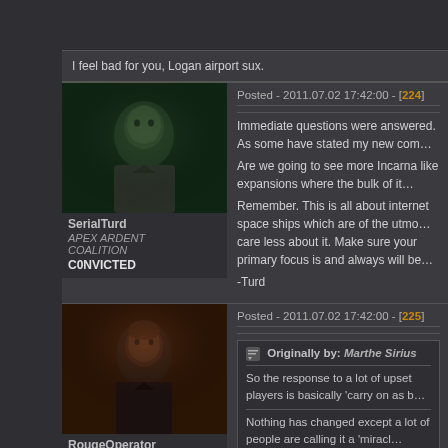I feel bad for you, Logan airport sux.
Posted - 2011.07.02 17:42:00 - [224]
[Figure (photo): Forum avatar portrait of SerialTurd - green-tinted character portrait]
SerialTurd
APEX ARDENT COALITION
C0NVICTED
Immediate questions were answered. As some have stated my new com...
Are we going to see more Incarna like expansions where the bulk of it...
Remember. This is all about internet space ships which are of the utmo... care less about it. Make sure your primary focus is and always will be...
-Turd
Posted - 2011.07.02 17:42:00 - [225]
[Figure (photo): Forum avatar portrait of RougeOperator - dark-toned male character portrait]
RougeOperator
Originally by: Marthe Sirius
So the response to a lot of upset players is basically 'carry on as b...
Nothing has changed except a lot of people are calling it a 'miracl...
Yup, let the sheeple rejoice.
CSM achieved nothing other then getting a free vacation for towing th...
That they are going along with the nex store pricing at all is alone insu...